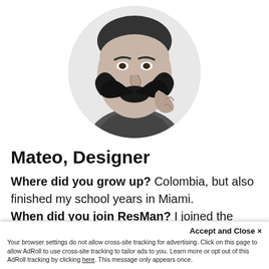[Figure (photo): Black and white circular profile photo of a man holding a large decorative mustache prop in front of his face.]
Mateo, Designer
Where did you grow up? Colombia, but also finished my school years in Miami. When did you join ResMan? I joined the ResMan family in January 2020 when ResMan acquired Razz Interactive
Accept and Close ×
Your browser settings do not allow cross-site tracking for advertising. Click on this page to allow AdRoll to use cross-site tracking to tailor ads to you. Learn more or opt out of this AdRoll tracking by clicking here. This message only appears once.